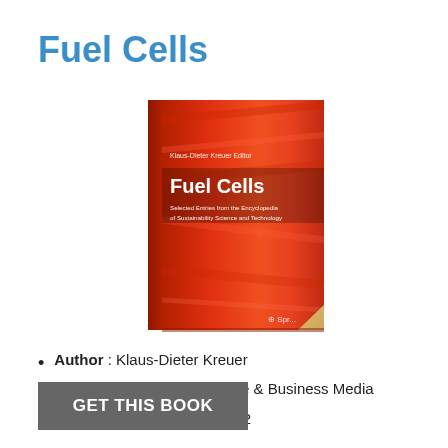Fuel Cells
[Figure (photo): Book cover of 'Fuel Cells' edited by Klaus-Dieter Kreuer, published by Springer. The cover has a red abstract background with white text showing 'Klaus-Dieter Kreuer Editor', 'Fuel Cells', 'Selected Entries from the Encyclopedia of Sustainability Science and Technology', and the Springer logo.]
Author : Klaus-Dieter Kreuer
Publisher : Springer Science & Business Media
Release : 14 December 2012
GET THIS BOOK